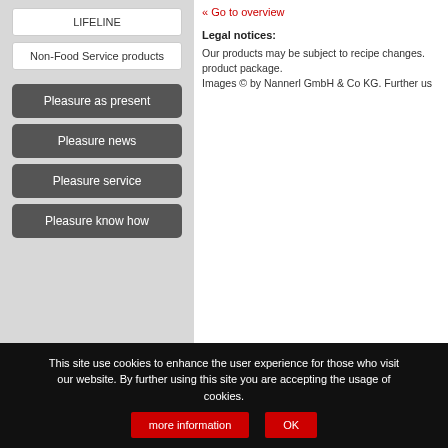LIFELINE
Non-Food Service products
Pleasure as present
Pleasure news
Pleasure service
Pleasure know how
« Go to overview
Legal notices:
Our products may be subject to recipe changes. product package.
Images © by Nannerl GmbH & Co KG. Further us
This site use cookies to enhance the user experience for those who visit our website. By further using this site you are accepting the usage of cookies.
more information
OK